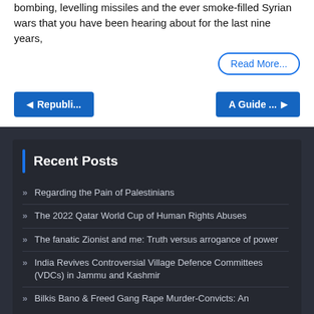bombing, levelling missiles and the ever smoke-filled Syrian wars that you have been hearing about for the last nine years,
Read More...
◄ Republi...
A Guide ... ►
Recent Posts
Regarding the Pain of Palestinians
The 2022 Qatar World Cup of Human Rights Abuses
The fanatic Zionist and me: Truth versus arrogance of power
India Revives Controversial Village Defence Committees (VDCs) in Jammu and Kashmir
Bilkis Bano & Freed Gang Rape Murder-Convicts: An